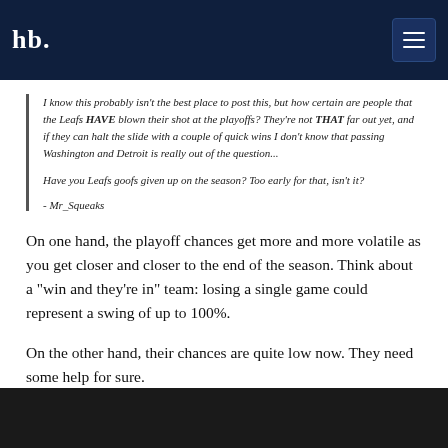hb.
I know this probably isn't the best place to post this, but how certain are people that the Leafs HAVE blown their shot at the playoffs? They're not THAT far out yet, and if they can halt the slide with a couple of quick wins I don't know that passing Washington and Detroit is really out of the question...

Have you Leafs goofs given up on the season? Too early for that, isn't it?
- Mr_Squeaks
On one hand, the playoff chances get more and more volatile as you get closer and closer to the end of the season. Think about a "win and they're in" team: losing a single game could represent a swing of up to 100%.
On the other hand, their chances are quite low now. They need some help for sure.